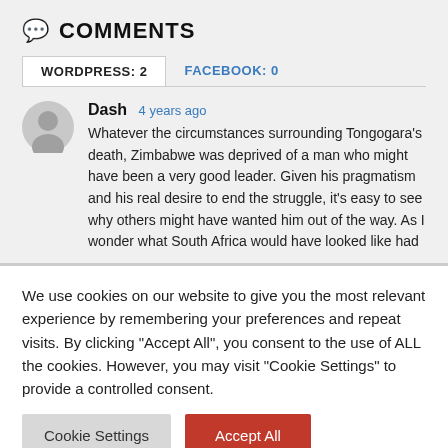COMMENTS
WORDPRESS: 2   FACEBOOK: 0
Dash  4 years ago

Whatever the circumstances surrounding Tongogara's death, Zimbabwe was deprived of a man who might have been a very good leader. Given his pragmatism and his real desire to end the struggle, it's easy to see why others might have wanted him out of the way. As I wonder what South Africa would have looked like had
We use cookies on our website to give you the most relevant experience by remembering your preferences and repeat visits. By clicking "Accept All", you consent to the use of ALL the cookies. However, you may visit "Cookie Settings" to provide a controlled consent.
Cookie Settings   Accept All